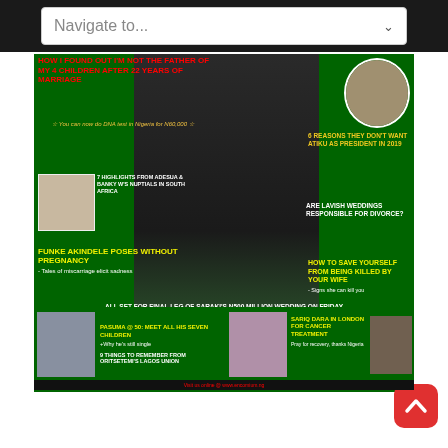[Figure (screenshot): Navigation dropdown bar at top of webpage reading 'Navigate to...']
[Figure (illustration): Nigerian magazine cover (likely Encomium or similar) featuring a woman in black outfit as main cover photo, green background, with multiple headlines about Funke Akindele, Atiku, DNA tests, weddings, Pasuma, Sariq Dara cancer treatment.]
[Figure (other): Red scroll-to-top button in bottom right corner of browser UI]